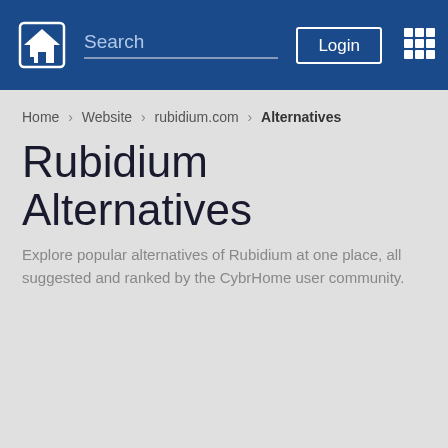[Figure (screenshot): Website navigation bar with home icon, search field, Login button, and grid/apps icon on a dark blue background]
Home > Website > rubidium.com > Alternatives
Rubidium Alternatives
Explore popular alternatives of Rubidium at one place, all suggested and ranked by the CybrHome user community.